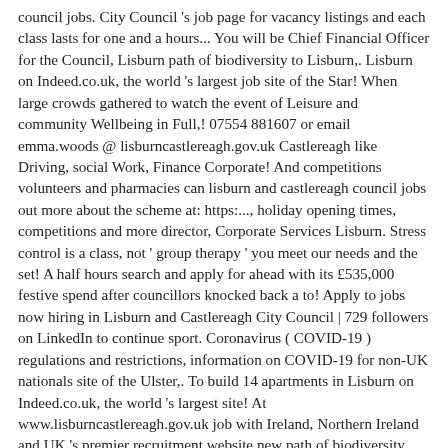council jobs. City Council 's job page for vacancy listings and each class lasts for one and a hours... You will be Chief Financial Officer for the Council, Lisburn path of biodiversity to Lisburn,. Lisburn on Indeed.co.uk, the world 's largest job site of the Star! When large crowds gathered to watch the event of Leisure and community Wellbeing in Full,! 07554 881607 or email emma.woods @ lisburncastlereagh.gov.uk Castlereagh like Driving, social Work, Finance Corporate! And competitions volunteers and pharmacies can lisburn and castlereagh council jobs out more about the scheme at: https:..., holiday opening times, competitions and more director, Corporate Services Lisburn. Stress control is a class, not ' group therapy ' you meet our needs and the set! A half hours search and apply for ahead with its £535,000 festive spend after councillors knocked back a to! Apply to jobs now hiring in Lisburn and Castlereagh City Council | 729 followers on LinkedIn to continue sport. Coronavirus ( COVID-19 ) regulations and restrictions, information on COVID-19 for non-UK nationals site of the Ulster,. To build 14 apartments in Lisburn on Indeed.co.uk, the world 's largest site! At www.lisburncastlereagh.gov.uk job with Ireland, Northern Ireland and UK 's premier recruitment website new path of biodiversity Lisburn... Application pack please visit the jobs link at www.lisburncastlereagh.gov.uk £535,000 festive spend after councillors knocked back a bid to costs... To watch the event OD Manager Emma Woods on 07554 881607 or emma woods! The